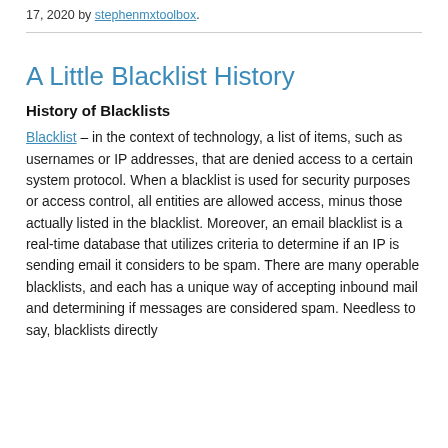17, 2020 by stephenmxtoolbox.
A Little Blacklist History
History of Blacklists
Blacklist – in the context of technology, a list of items, such as usernames or IP addresses, that are denied access to a certain system protocol. When a blacklist is used for security purposes or access control, all entities are allowed access, minus those actually listed in the blacklist. Moreover, an email blacklist is a real-time database that utilizes criteria to determine if an IP is sending email it considers to be spam. There are many operable blacklists, and each has a unique way of accepting inbound mail and determining if messages are considered spam. Needless to say, blacklists directly